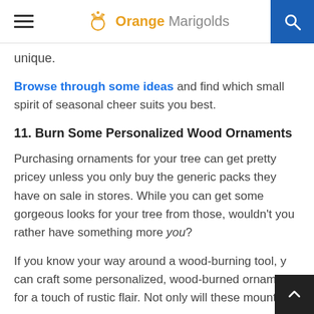Orange Marigolds
unique.
Browse through some ideas and find which small spirit of seasonal cheer suits you best.
11. Burn Some Personalized Wood Ornaments
Purchasing ornaments for your tree can get pretty pricey unless you only buy the generic packs they have on sale in stores. While you can get some gorgeous looks for your tree from those, wouldn't you rather have something more you?
If you know your way around a wood-burning tool, you can craft some personalized, wood-burned ornaments for a touch of rustic flair. Not only will these mountain-